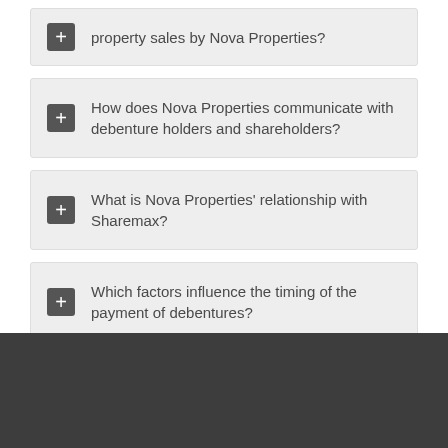property sales by Nova Properties?
How does Nova Properties communicate with debenture holders and shareholders?
What is Nova Properties' relationship with Sharemax?
Which factors influence the timing of the payment of debentures?